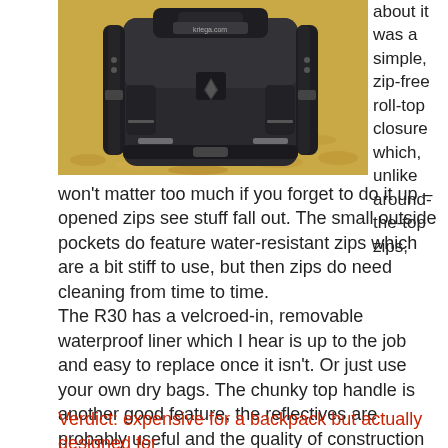[Figure (photo): A black Kriega R30 motorcycle backpack photographed outdoors on a gravel/leaf-covered ground, showing the front and side of the pack with straps and pocket details visible. The kriega.com logo is visible on the pack.]
about it was a simple, zip-free roll-top closure which, unlike around-the-top zips, won't matter too much if you forget to do it up – opened zips see stuff fall out. The small outside pockets do feature water-resistant zips which are a bit stiff to use, but then zips do need cleaning from time to time.
The R30 has a velcroed-in, removable waterproof liner which I hear is up to the job and easy to replace once it isn't. Or just use your own dry bags. The chunky top handle is another good feature, the reflectives are probably useful and the quality of construction is what you've come to expect rom Kriega.
Verdict: expensive for a backpack but actually designed for